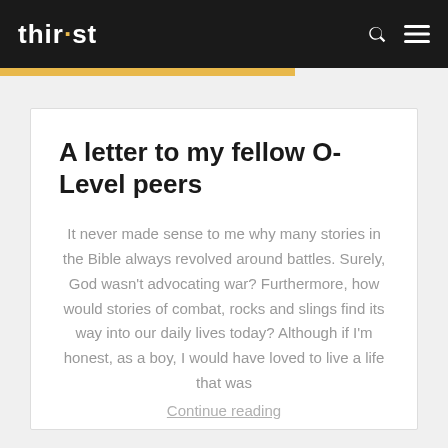thir·st
A letter to my fellow O-Level peers
It never made sense to me why many stories in the Bible always revolved around battles. Surely, God wasn't advocating war? Furthermore, how would stories of combat, rocks and slings find its way into our daily lives today? Although if I'm honest, as a boy, I would have loved to live a life that was
Continue reading